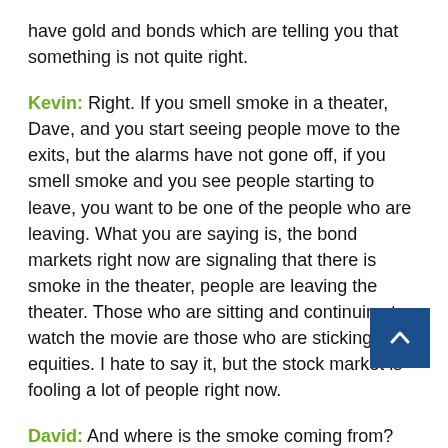have gold and bonds which are telling you that something is not quite right.
Kevin: Right. If you smell smoke in a theater, Dave, and you start seeing people move to the exits, but the alarms have not gone off, if you smell smoke and you see people starting to leave, you want to be one of the people who are leaving. What you are saying is, the bond markets right now are signaling that there is smoke in the theater, people are leaving the theater. Those who are sitting and continuing to watch the movie are those who are sticking in equities. I hate to say it, but the stock market is fooling a lot of people right now.
David: And where is the smoke coming from? It's the burning of a social contract. You have trust which has been